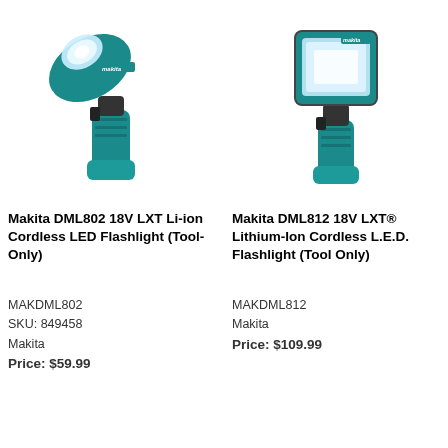[Figure (photo): Makita DML802 cordless LED flashlight in teal/black color, pistol grip style with light head angled upward]
Makita DML802 18V LXT Li-ion Cordless LED Flashlight (Tool-Only)
MAKDML802
SKU: 849458
Makita
Price: $59.99
[Figure (photo): Makita DML812 cordless L.E.D. flashlight in teal/black color, rectangular flood light head with pistol grip]
Makita DML812 18V LXT® Lithium-Ion Cordless L.E.D. Flashlight (Tool Only)
MAKDML812
Makita
Price: $109.99